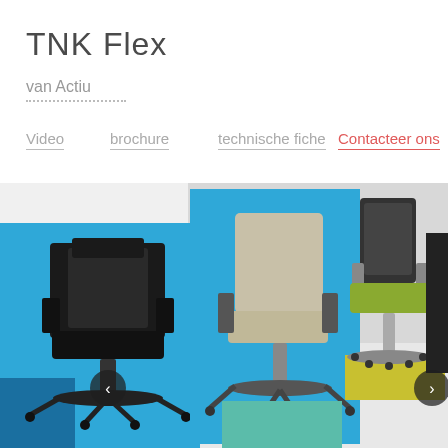TNK Flex
van Actiu
Video
brochure
technische fiche
Contacteer ons
[Figure (photo): Multiple office chairs (TNK Flex by Actiu) displayed in a product carousel: a black chair on a blue background, a beige chair on blue, a green-seated chair on white, and a black chair on white. Navigation arrows visible on left and right.]